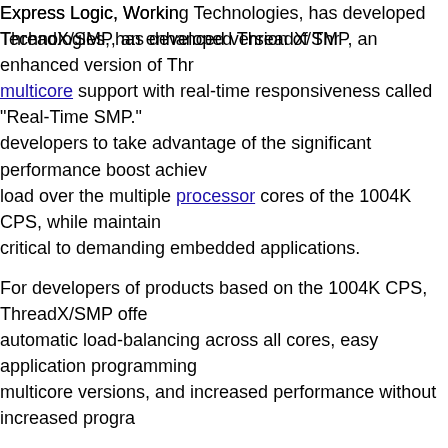Express Logic, Working Technologies, has developed ThreadX/SMP, an enhanced version of ThreadX multicore support with real-time responsiveness called "Real-Time SMP." developers to take advantage of the significant performance boost achieved load over the multiple processor cores of the 1004K CPS, while maintaining critical to demanding embedded applications.
For developers of products based on the 1004K CPS, ThreadX/SMP offers automatic load-balancing across all cores, easy application programming multicore versions, and increased performance without increased program...
ThreadX/SMP is based on Express Logic's ThreadX RTOS, a small, high minimizes system overhead and provides lightning-fast real-time response footprint and sub-microsecond interrupt response and context switch, The multicore architecture of the 1004K CPS with the ease of SMP, while retaining responsiveness.
ThreadX/SMP is designed for demanding real-time applications where high performance are imperative. Together, ThreadX/SMP and the 1004K CPS with a combination of high-performance and ease-of-use that speeds time...
MIPS Technologies' 1004K CPS offers up to four processors, each with c...